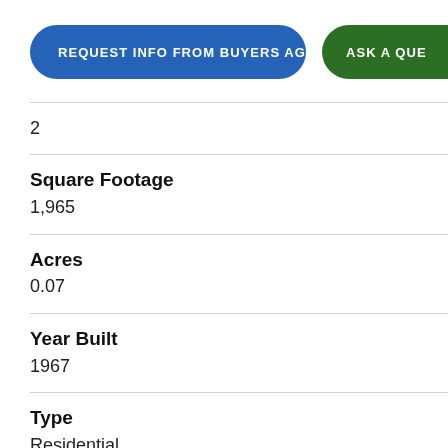REQUEST INFO FROM BUYERS AGENT | ASK A QUE...
2
Square Footage
1,965
Acres
0.07
Year Built
1967
Type
Residential
Sub-Type
Condominium